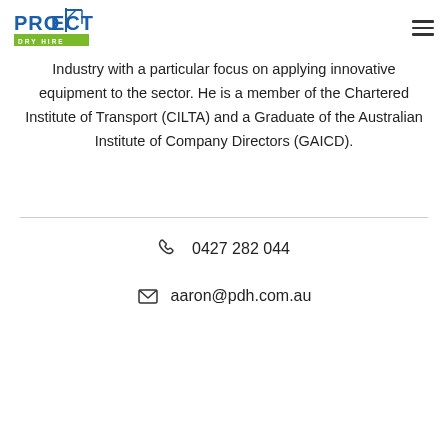PROSECT DRY HIRE
Industry with a particular focus on applying innovative equipment to the sector. He is a member of the Chartered Institute of Transport (CILTA) and a Graduate of the Australian Institute of Company Directors (GAICD).
0427 282 044
aaron@pdh.com.au